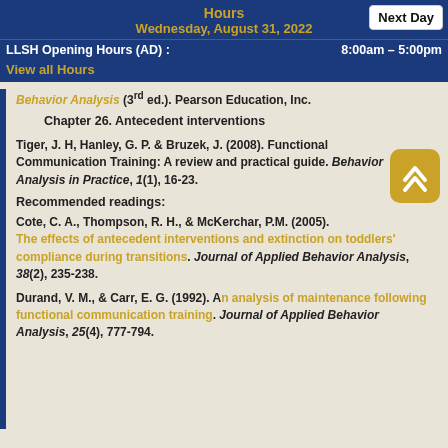Hours
Wednesday, August 31, 2022
LLSH Opening Hours (AD) : 8:00am – 5:00pm
View all Hours
Next Day
Behavior Analysis (3rd ed.). Pearson Education, Inc.
Chapter 26. Antecedent interventions
Tiger, J. H, Hanley, G. P. & Bruzek, J. (2008). Functional Communication Training: A review and practical guide. Behavior Analysis in Practice, 1(1), 16-23.
Recommended readings:
Cote, C. A., Thompson, R. H., & McKerchar, P.M. (2005). The effects of antecedent interventions and extinction on toddlers' compliance during transitions. Journal of Applied Behavior Analysis, 38(2), 235-238.
Durand, V. M., & Carr, E. G. (1992). An analysis of maintenance following functional communication training. Journal of Applied Behavior Analysis, 25(4), 777-794.